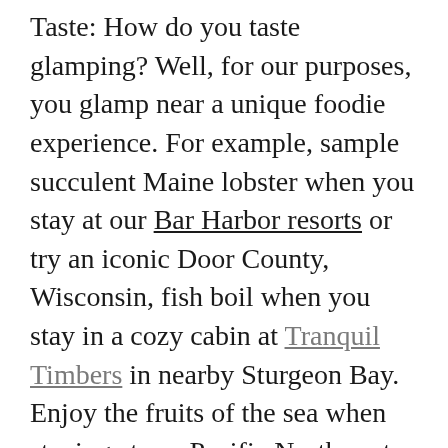Taste: How do you taste glamping? Well, for our purposes, you glamp near a unique foodie experience. For example, sample succulent Maine lobster when you stay at our Bar Harbor resorts or try an iconic Door County, Wisconsin, fish boil when you stay in a cozy cabin at Tranquil Timbers in nearby Sturgeon Bay. Enjoy the fruits of the sea when staying at our Pacific Northwest locations and taste seasonal Chinook salmon, Dungeness crab, or Oregon Pink Shrimp or oysters. A stay at Natchez Trace means Nashville's culinary treats, which include hot chicken (named for the healthy dose of cayenne pepper used), buttery, flaky biscuits, and the oh-so-gooey and sweet Goo Goo clusters. Miami is all about classic Cuban cuisine, which makes our sizzling and